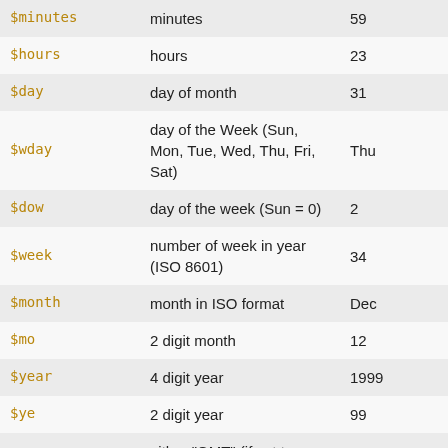| Variable | Description | Example |
| --- | --- | --- |
| $minutes | minutes | 59 |
| $hours | hours | 23 |
| $day | day of month | 31 |
| $wday | day of the Week (Sun, Mon, Tue, Wed, Thu, Fri, Sat) | Thu |
| $dow | day of the week (Sun = 0) | 2 |
| $week | number of week in year (ISO 8601) | 34 |
| $month | month in ISO format | Dec |
| $mo | 2 digit month | 12 |
| $year | 4 digit year | 1999 |
| $ye | 2 digit year | 99 |
| $tz | either "GMT" (if set to gmtime), or "Local" (if set to servertime) | GMT |
| $iso | ISO format timestamp | 2022-08-30T10:53:43Z |
| $rcs | RCS format timestamp | 2022/08/30 |